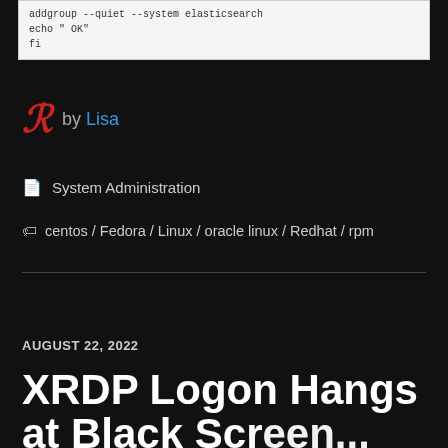[Figure (screenshot): Code block showing shell commands: addgroup --quiet --system elasticsearch, echo ' OK']
by Lisa
System Administration
centos / Fedora / Linux / oracle linux / Redhat / rpm
AUGUST 22, 2022
XRDP Logon Hangs at Black Screen...